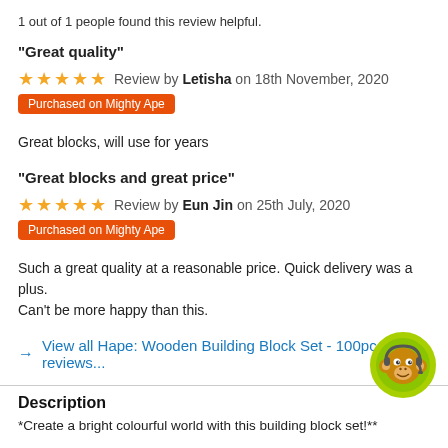1 out of 1 people found this review helpful.
"Great quality"
Review by Letisha on 18th November, 2020
Purchased on Mighty Ape
Great blocks, will use for years
"Great blocks and great price"
Review by Eun Jin on 25th July, 2020
Purchased on Mighty Ape
Such a great quality at a reasonable price. Quick delivery was a plus. Can't be more happy than this.
View all Hape: Wooden Building Block Set - 100pc reviews...
Description
*Create a bright colourful world with this building block set!**